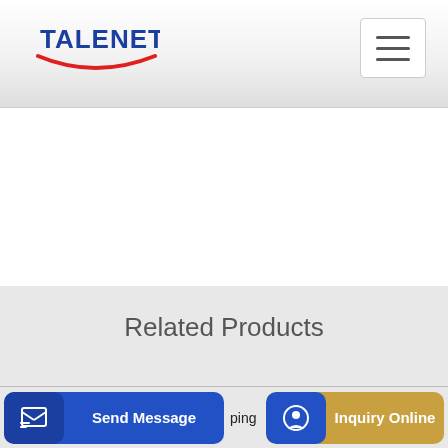[Figure (logo): TALENET logo with blue text and red swoosh/arc beneath]
Related Products
China 37m Shantui Concrete Pump Truck Hjc5270thb-37 in
3 Point Concrete Pumping
Send Message
Inquiry Online